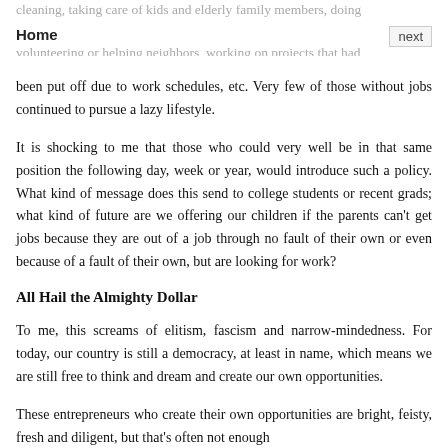Home
cleaning, taking care of kids and elderly family members, doing laundry and cooking and running errands. Others spent time volunteering or helping neighbors, working on projects that had been put off due to work schedules, etc. Very few of those without jobs continued to pursue a lazy lifestyle.
It is shocking to me that those who could very well be in that same position the following day, week or year, would introduce such a policy. What kind of message does this send to college students or recent grads; what kind of future are we offering our children if the parents can't get jobs because they are out of a job through no fault of their own or even because of a fault of their own, but are looking for work?
All Hail the Almighty Dollar
To me, this screams of elitism, fascism and narrow-mindedness. For today, our country is still a democracy, at least in name, which means we are still free to think and dream and create our own opportunities.
These entrepreneurs who create their own opportunities are bright, feisty, fresh and diligent, but that's often not enough